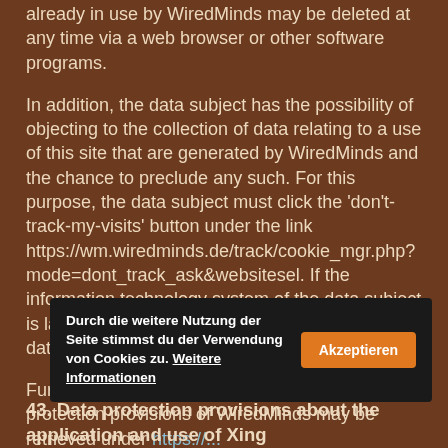already in use by WiredMinds may be deleted at any time via a web browser or other software programs.
In addition, the data subject has the possibility of objecting to the collection of data relating to a use of this site that are generated by WiredMinds and the chance to preclude any such. For this purpose, the data subject must click the 'don't-track-my-visits' button under the link https://wm.wiredminds.de/track/cookie_mgr.php?mode=dont_track_ask&websitesel. If the information technology system of the data subject is later deleted, formatted or reinstalled, then the data subject must again set an opt-out cookie.
Further information and the applicable data protection provisions of WiredMinds may be retrieved under https://...
[Figure (screenshot): Cookie consent bar with German text: 'Durch die weitere Nutzung der Seite stimmst du der Verwendung von Cookies zu. Weitere Informationen' and an orange 'Akzeptieren' button.]
43. Data protection provisions about the application and use of Xing